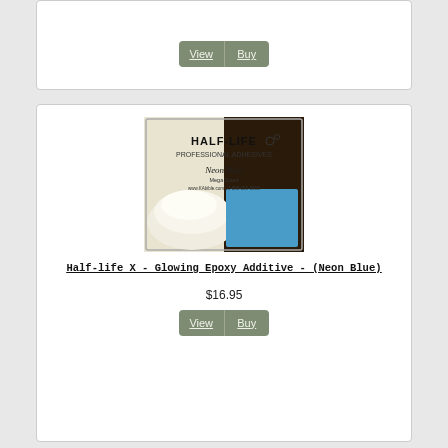[Figure (other): Top card partial view with View and Buy buttons]
[Figure (photo): Half-life X Glowing Epoxy Additive Neon Blue product package image showing powder and blue color swatch]
Half-life X - Glowing Epoxy Additive - (Neon Blue)
$16.95
[Figure (other): Third card partial view showing bottom of a product (tip/nozzle)]